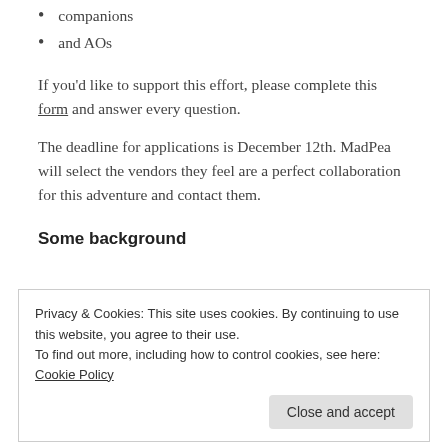companions
and AOs
If you'd like to support this effort, please complete this form and answer every question.
The deadline for applications is December 12th. MadPea will select the vendors they feel are a perfect collaboration for this adventure and contact them.
Some background
Privacy & Cookies: This site uses cookies. By continuing to use this website, you agree to their use.
To find out more, including how to control cookies, see here: Cookie Policy
Close and accept